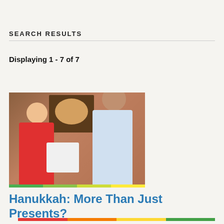SEARCH RESULTS
Displaying 1 - 7 of 7
[Figure (photo): Two people exchanging a Hanukkah gift bag with dreidel decorations. A woman in a red blazer and a man in a light blue shirt are smiling. A framed circular artwork is visible in the background. A colored stripe bar appears at the bottom of the image.]
Hanukkah: More Than Just Presents?